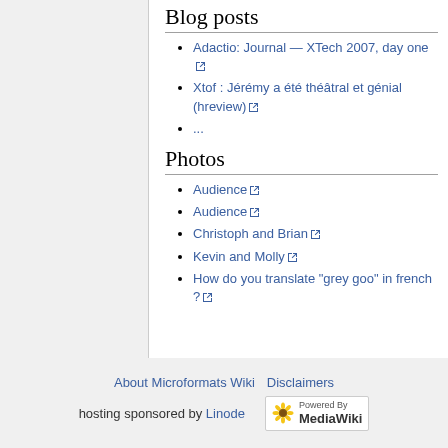Blog posts
Adactio: Journal — XTech 2007, day one
Xtof : Jérémy a été théâtral et génial (hreview)
...
Photos
Audience
Audience
Christoph and Brian
Kevin and Molly
How do you translate "grey goo" in french ?
About Microformats Wiki   Disclaimers   hosting sponsored by Linode   Powered by MediaWiki